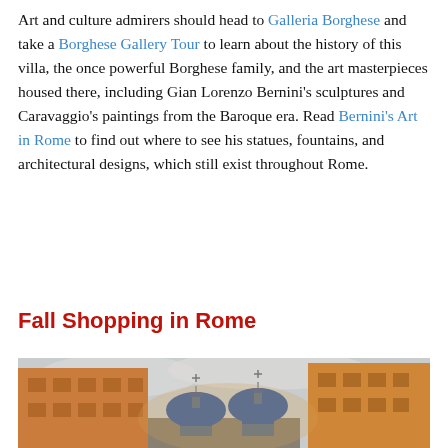Art and culture admirers should head to Galleria Borghese and take a Borghese Gallery Tour to learn about the history of this villa, the once powerful Borghese family, and the art masterpieces housed there, including Gian Lorenzo Bernini's sculptures and Caravaggio's paintings from the Baroque era. Read Bernini's Art in Rome to find out where to see his statues, fountains, and architectural designs, which still exist throughout Rome.
Fall Shopping in Rome
[Figure (photo): A street-level photo looking up at two blue-domed church towers rising between warm orange-toned classical Roman buildings under a cloudy sky.]